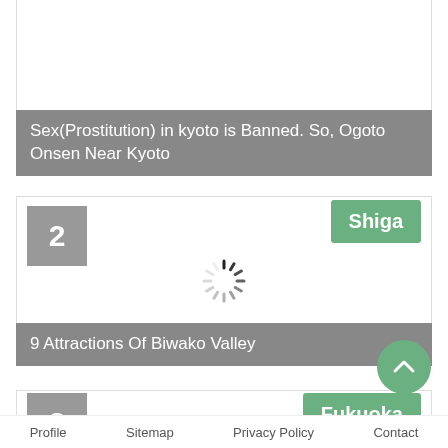Sex(Prostitution) in kyoto is Banned. So, Ogoto Onsen Near Kyoto
2
Shiga
[Figure (other): Loading spinner/indicator icon in the center of a white content area]
9 Attractions Of Biwako Valley
3
Fukuoka
Profile   Sitemap   Privacy Policy   Contact